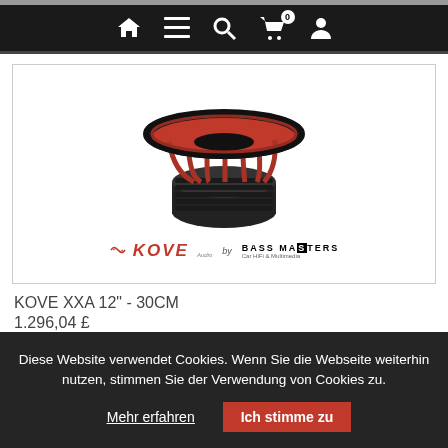[Figure (screenshot): Navigation bar with home, menu, search, cart (0), and user icons on dark background]
[Figure (photo): Red and black car subwoofer speaker (KOVE XXA 12" - 30CM) shown from above, with KOVE Audio and Bass Masters branding at bottom of image]
KOVE XXA 12" - 30CM
1.296,04 £
Diese Website verwendet Cookies. Wenn Sie die Webseite weiterhin nutzen, stimmen Sie der Verwendung von Cookies zu.
Mehr erfahren
Ich stimme zu